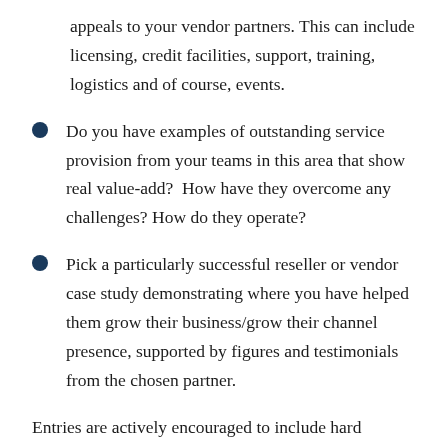appeals to your vendor partners. This can include licensing, credit facilities, support, training, logistics and of course, events.
Do you have examples of outstanding service provision from your teams in this area that show real value-add?  How have they overcome any challenges? How do they operate?
Pick a particularly successful reseller or vendor case study demonstrating where you have helped them grow their business/grow their channel presence, supported by figures and testimonials from the chosen partner.
Entries are actively encouraged to include hard